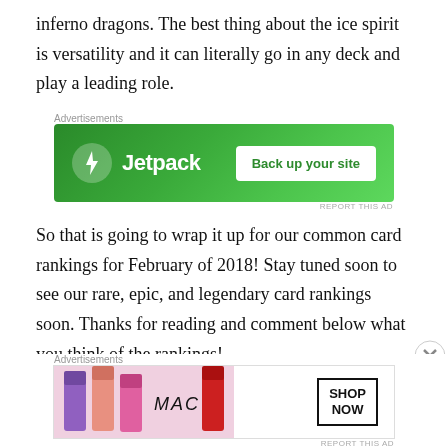inferno dragons. The best thing about the ice spirit is versatility and it can literally go in any deck and play a leading role.
[Figure (infographic): Jetpack advertisement banner: green background with Jetpack logo and 'Back up your site' button]
So that is going to wrap it up for our common card rankings for February of 2018! Stay tuned soon to see our rare, epic, and legendary card rankings soon. Thanks for reading and comment below what you think of the rankings!
Check out our videos on
[Figure (infographic): MAC cosmetics advertisement banner with lipsticks and 'SHOP NOW' button]